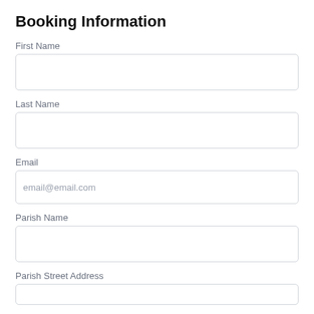Booking Information
First Name
Last Name
Email
Parish Name
Parish Street Address